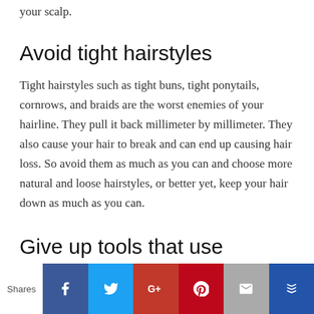your scalp.
Avoid tight hairstyles
Tight hairstyles such as tight buns, tight ponytails, cornrows, and braids are the worst enemies of your hairline. They pull it back millimeter by millimeter. They also cause your hair to break and can end up causing hair loss. So avoid them as much as you can and choose more natural and loose hairstyles, or better yet, keep your hair down as much as you can.
Give up tools that use excessive heat
[Figure (infographic): Social sharing bar at bottom with Shares label and buttons: Facebook (blue), Twitter (light blue), Google+ (red), Pinterest (dark red), Email (gray), and a crown/bookmark icon (dark blue)]